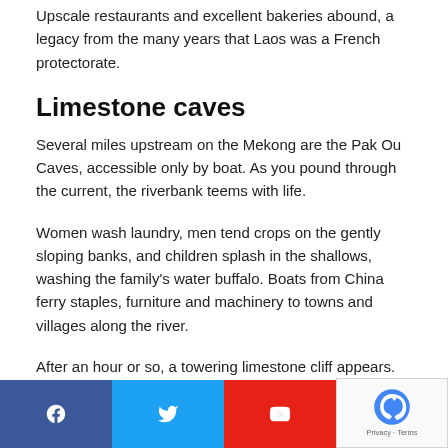Upscale restaurants and excellent bakeries abound, a legacy from the many years that Laos was a French protectorate.
Limestone caves
Several miles upstream on the Mekong are the Pak Ou Caves, accessible only by boat. As you pound through the current, the riverbank teems with life.
Women wash laundry, men tend crops on the gently sloping banks, and children splash in the shallows, washing the family's water buffalo. Boats from China ferry staples, furniture and machinery to towns and villages along the river.
After an hour or so, a towering limestone cliff appears. Local people, almost all of them devout Buddhists, have visited the cliff's caves for four centuries to offer small statues of the Buddh…
[Figure (other): Social media share bar with Facebook, Twitter, YouTube, LinkedIn buttons, and a reCAPTCHA privacy overlay in the bottom right corner.]